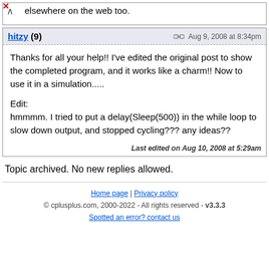elsewhere on the web too.
hitzy (9)
Aug 9, 2008 at 8:34pm
Thanks for all your help!! I've edited the original post to show the completed program, and it works like a charm!! Now to use it in a simulation.....

Edit:
hmmmm. I tried to put a delay(Sleep(500)) in the while loop to slow down output, and stopped cycling??? any ideas??

Last edited on Aug 10, 2008 at 5:29am
Topic archived. No new replies allowed.
Home page | Privacy policy
© cplusplus.com, 2000-2022 - All rights reserved - v3.3.3
Spotted an error? contact us